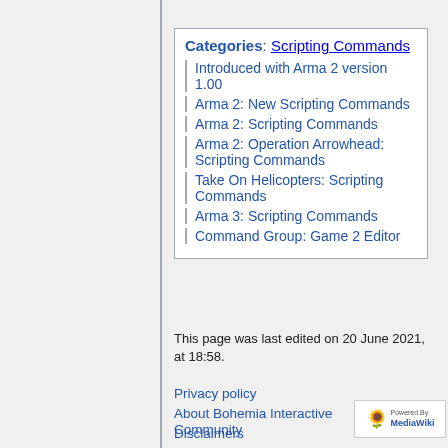Categories: Scripting Commands
Introduced with Arma 2 version 1.00
Arma 2: New Scripting Commands
Arma 2: Scripting Commands
Arma 2: Operation Arrowhead: Scripting Commands
Take On Helicopters: Scripting Commands
Arma 3: Scripting Commands
Command Group: Game 2 Editor
This page was last edited on 20 June 2021, at 18:58.
Privacy policy
About Bohemia Interactive Community
Disclaimers